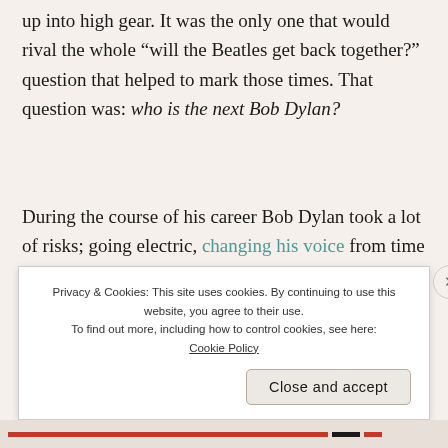up into high gear. It was the only one that would rival the whole “will the Beatles get back together?” question that helped to mark those times. That question was: who is the next Bob Dylan?
During the course of his career Bob Dylan took a lot of risks; going electric, changing his voice from time to time, quitting the touring treadmill for almost a decade, and making records that people didn’t expect him to make. And he’s still doing it
Privacy & Cookies: This site uses cookies. By continuing to use this website, you agree to their use. To find out more, including how to control cookies, see here: Cookie Policy
Close and accept